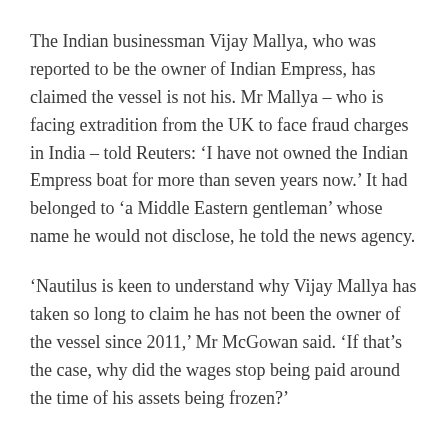The Indian businessman Vijay Mallya, who was reported to be the owner of Indian Empress, has claimed the vessel is not his. Mr Mallya – who is facing extradition from the UK to face fraud charges in India – told Reuters: ‘I have not owned the Indian Empress boat for more than seven years now.’ It had belonged to ‘a Middle Eastern gentleman’ whose name he would not disclose, he told the news agency.
‘Nautilus is keen to understand why Vijay Mallya has taken so long to claim he has not been the owner of the vessel since 2011,’ Mr McGowan said. ‘If that’s the case, why did the wages stop being paid around the time of his assets being frozen?’